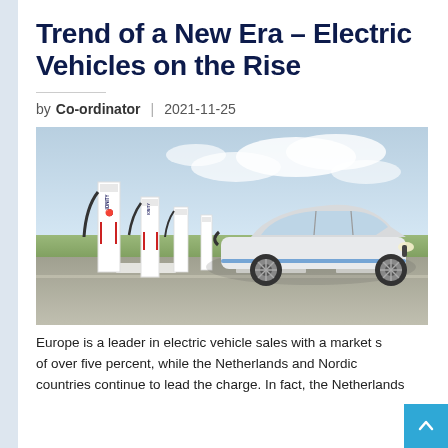Trend of a New Era – Electric Vehicles on the Rise
by Co-ordinator | 2021-11-25
[Figure (photo): Electric vehicle (BMW i4) charging at IONITY charging stations in a parking lot, with multiple white charger units visible and a clear sky in the background.]
Europe is a leader in electric vehicle sales with a market share of over five percent, while the Netherlands and Nordic countries continue to lead the charge. In fact, the Netherlands